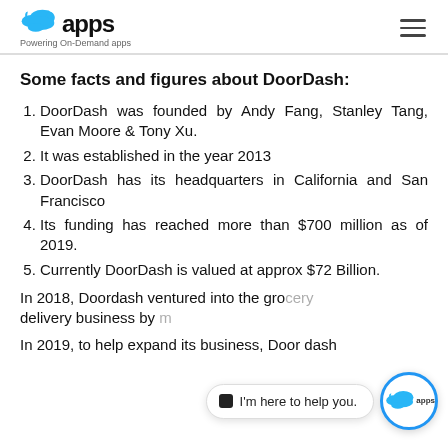apps — Powering On-Demand apps
Some facts and figures about DoorDash:
DoorDash was founded by Andy Fang, Stanley Tang, Evan Moore & Tony Xu.
It was established in the year 2013
DoorDash has its headquarters in California and San Francisco
Its funding has reached more than $700 million as of 2019.
Currently DoorDash is valued at approx $72 Billion.
In 2018, Doordash ventured into the grocery delivery business by m
In 2019, to help expand its business, Door dash